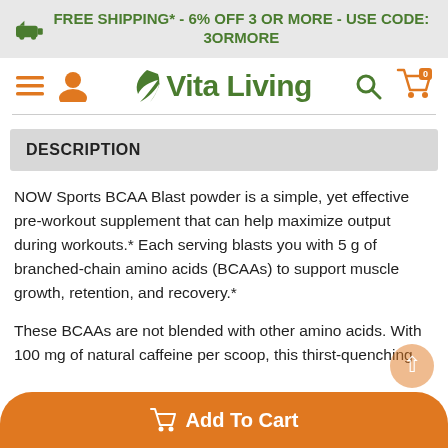FREE SHIPPING* - 6% OFF 3 OR MORE - USE CODE: 3ORMORE
[Figure (logo): Vita Living logo with leaf icon, hamburger menu, user icon, search icon, and cart icon in orange and green]
DESCRIPTION
NOW Sports BCAA Blast powder is a simple, yet effective pre-workout supplement that can help maximize output during workouts.* Each serving blasts you with 5 g of branched-chain amino acids (BCAAs) to support muscle growth, retention, and recovery.*
These BCAAs are not blended with other amino acids. With 100 mg of natural caffeine per scoop, this thirst-quenching